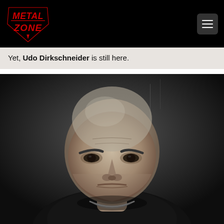Metal Zone logo and navigation
Yet, Udo Dirkschneider is still here.
[Figure (photo): Black and white portrait photo of Udo Dirkschneider, a bald older man with an intense, stern expression, wearing a black shirt and silver chain necklace, photographed against a dark background.]